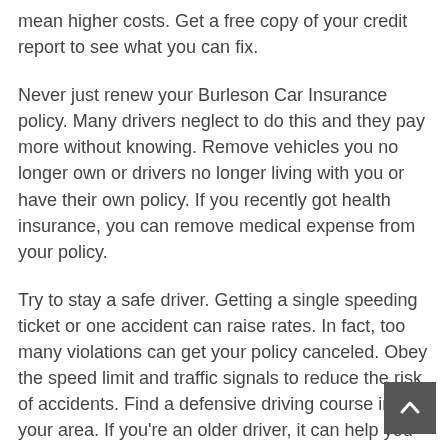mean higher costs. Get a free copy of your credit report to see what you can fix.
Never just renew your Burleson Car Insurance policy. Many drivers neglect to do this and they pay more without knowing. Remove vehicles you no longer own or drivers no longer living with you or have their own policy. If you recently got health insurance, you can remove medical expense from your policy.
Try to stay a safe driver. Getting a single speeding ticket or one accident can raise rates. In fact, too many violations can get your policy canceled. Obey the speed limit and traffic signals to reduce the risk of accidents. Find a defensive driving course in your area. If you're an older driver, it can help you refresh your driving skills. Many providers give discounts for passing. They will have greater confidence in you as a driver when you prove you are trying to stay safe.